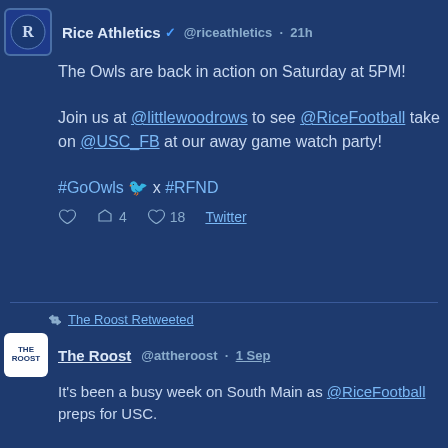Rice Athletics @riceathletics · 21h
The Owls are back in action on Saturday at 5PM!

Join us at @littlewoodrows to see @RiceFootball take on @USC_FB at our away game watch party!

#GoOwls 🐦 x #RFND
Reply  Retweet 4  Like 18  Twitter
The Roost Retweeted
The Roost @attheroost · 1 Sep
It's been a busy week on South Main as @RiceFootball preps for USC.

More on the Owls' plans for this weekend on both sides of the ball, individual standouts, and a (mostly) clean injury